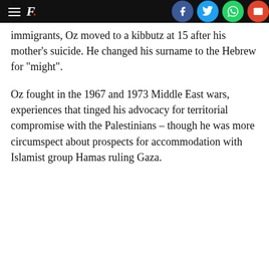F. [social share bar]
immigrants, Oz moved to a kibbutz at 15 after his mother's suicide. He changed his surname to the Hebrew for "might".
Oz fought in the 1967 and 1973 Middle East wars, experiences that tinged his advocacy for territorial compromise with the Palestinians – though he was more circumspect about prospects for accommodation with Islamist group Hamas ruling Gaza.